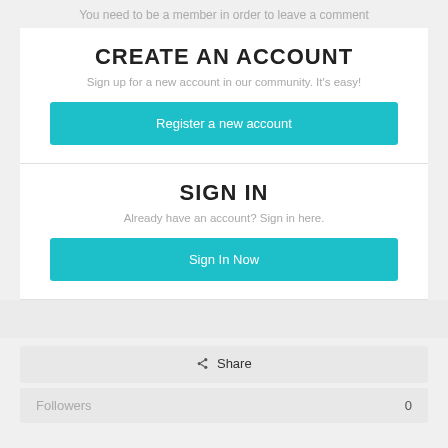You need to be a member in order to leave a comment
CREATE AN ACCOUNT
Sign up for a new account in our community. It's easy!
Register a new account
SIGN IN
Already have an account? Sign in here.
Sign In Now
Share
Followers 0